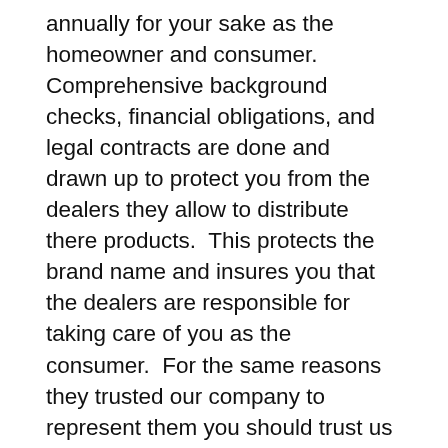annually for your sake as the homeowner and consumer. Comprehensive background checks, financial obligations, and legal contracts are done and drawn up to protect you from the dealers they allow to distribute there products.  This protects the brand name and insures you that the dealers are responsible for taking care of you as the consumer.  For the same reasons they trusted our company to represent them you should trust us to provide you, your home and most importantly your family with a lifetime of clean water…like we agreed on, this isn't impulse, it just isn't FUN and exciting BUT its the right thing to